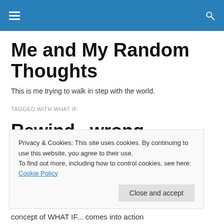Me and My Random Thoughts
Me and My Random Thoughts
This is me trying to walk in step with the world.
TAGGED WITH WHAT IF
Rewind.. wrong decisions
Privacy & Cookies: This site uses cookies. By continuing to use this website, you agree to their use.
To find out more, including how to control cookies, see here: Cookie Policy
Close and accept
concept of WHAT IF... comes into action